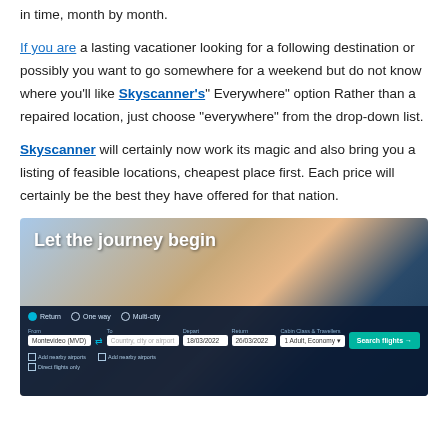in time, month by month.
If you are a lasting vacationer looking for a following destination or possibly you want to go somewhere for a weekend but do not know where you'll like Skyscanner's" Everywhere" option Rather than a repaired location, just choose “everywhere” from the drop-down list.
Skyscanner will certainly now work its magic and also bring you a listing of feasible locations, cheapest place first. Each price will certainly be the best they have offered for that nation.
[Figure (screenshot): Skyscanner website screenshot showing 'Let the journey begin' banner with a search form for flights including fields for From (Montevideo (MVD)), To (Country, city or airport), Depart (18/03/2022), Return (26/03/2022), Cabin Class & Travellers (1 Adult, Economy), and a 'Search flights' button. Background shows mountains and ocean scenery.]